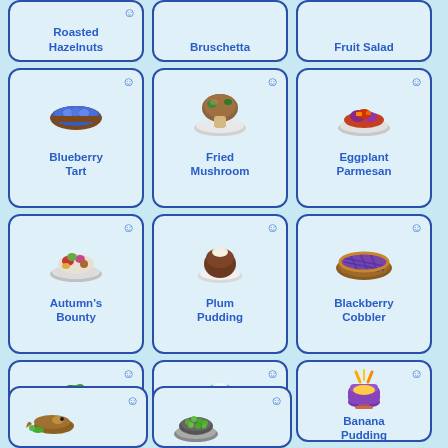[Figure (illustration): Grid of pixel art food items from a game, showing: Roasted Hazelnuts, Bruschetta, Fruit Salad (partial top row), Blueberry Tart, Fried Mushroom, Eggplant Parmesan, Autumn's Bounty, Plum Pudding, Blackberry Cobbler, Algae Soup, Artichoke Dip, Banana Pudding, and two partial items at bottom]